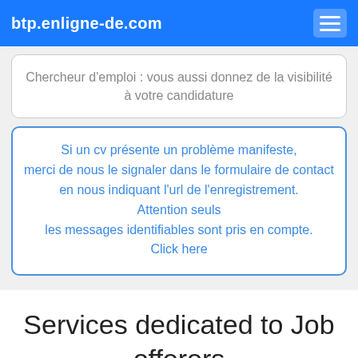btp.enligne-de.com
Chercheur d'emploi : vous aussi donnez de la visibilité à votre candidature
Si un cv présente un problème manifeste, merci de nous le signaler dans le formulaire de contact en nous indiquant l'url de l'enregistrement. Attention seuls les messages identifiables sont pris en compte. Click here
Services dedicated to Job offerers